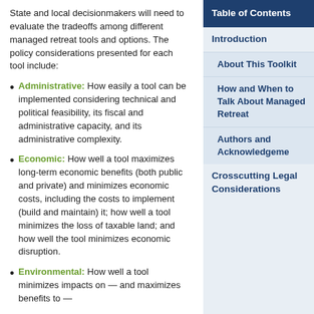State and local decisionmakers will need to evaluate the tradeoffs among different managed retreat tools and options. The policy considerations presented for each tool include:
Administrative: How easily a tool can be implemented considering technical and political feasibility, its fiscal and administrative capacity, and its administrative complexity.
Economic: How well a tool maximizes long-term economic benefits (both public and private) and minimizes economic costs, including the costs to implement (build and maintain) it; how well a tool minimizes the loss of taxable land; and how well the tool minimizes economic disruption.
Environmental: How well a tool minimizes impacts on — and maximizes benefits to —
| Table of Contents |
| --- |
| Introduction |
| About This Toolkit |
| How and When to Talk About Managed Retreat |
| Authors and Acknowledgements |
| Crosscutting Legal Considerations |